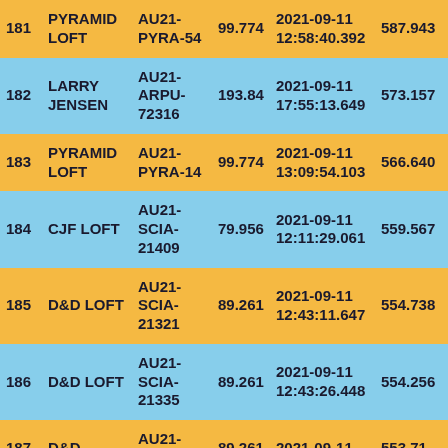| # | Name | Code | Value | DateTime | Score |
| --- | --- | --- | --- | --- | --- |
| 181 | PYRAMID LOFT | AU21-PYRA-54 | 99.774 | 2021-09-11 12:58:40.392 | 587.943 |
| 182 | LARRY JENSEN | AU21-ARPU-72316 | 193.84 | 2021-09-11 17:55:13.649 | 573.157 |
| 183 | PYRAMID LOFT | AU21-PYRA-14 | 99.774 | 2021-09-11 13:09:54.103 | 566.640 |
| 184 | CJF LOFT | AU21-SCIA-21409 | 79.956 | 2021-09-11 12:11:29.061 | 559.567 |
| 185 | D&D LOFT | AU21-SCIA-21321 | 89.261 | 2021-09-11 12:43:11.647 | 554.738 |
| 186 | D&D LOFT | AU21-SCIA-21335 | 89.261 | 2021-09-11 12:43:26.448 | 554.256 |
| 187 | D&D | AU21-SCIA- | 89.261 | 2021-09-11 | 553.71? |